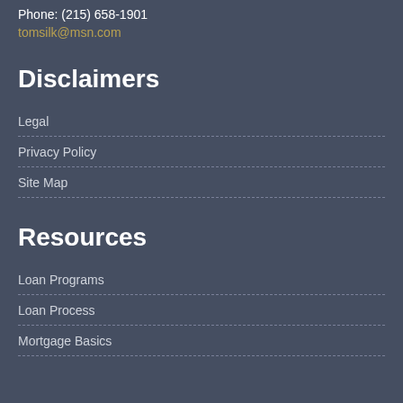Phone: (215) 658-1901
tomsilk@msn.com
Disclaimers
Legal
Privacy Policy
Site Map
Resources
Loan Programs
Loan Process
Mortgage Basics